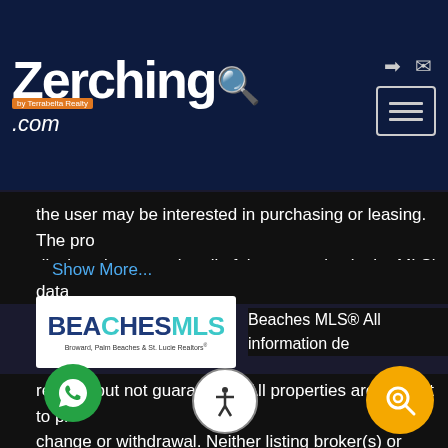[Figure (logo): Zerching.com by Terrabella Realty logo on dark navy background header with navigation icons and hamburger menu button]
the user may be interested in purchasing or leasing. The properties displayed may not be all of the properties in the MLS's data
Show More...
[Figure (logo): Beaches MLS logo - Broward, Palm Beaches & St. Lucie Realtors]
Beaches MLS® All information de
reliable but not guaranteed. All properties are subject to prior change or withdrawal. Neither listing broker(s) or information shall be responsible for any typographical errors, misinformation, misprints and shall be held totally harmless. Listing information is provided for consumer's personal, non-commercial use and may not be used for any purpose other than to identify prospective pro